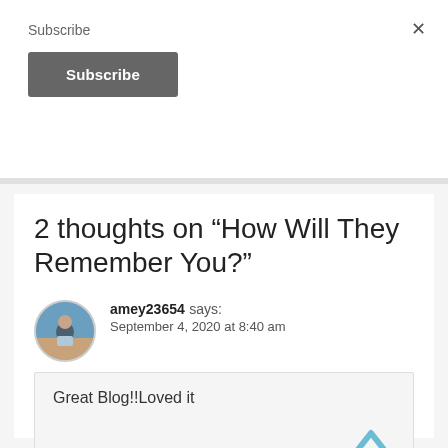Subscribe
Subscribe
2 thoughts on “How Will They Remember You?”
amey23654 says: September 4, 2020 at 8:40 am
Great Blog!!Loved it
Reply